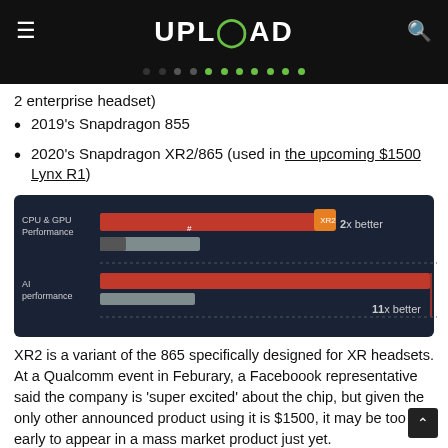UPLOAD
2 enterprise headset)
2019's Snapdragon 855
2020's Snapdragon XR2/865 (used in the upcoming $1500 Lynx R1)
[Figure (bar-chart): Bar chart comparing Snapdragon XR2 vs previous chip. CPU & GPU Performance: 2x better. AI performance: 11x better.]
XR2 is a variant of the 865 specifically designed for XR headsets. At a Qualcomm event in Feburary, a Faceboook representative said the company is 'super excited' about the chip, but given the only other announced product using it is $1500, it may be too early to appear in a mass market product just yet.
The extra power of any of these chips may be used to